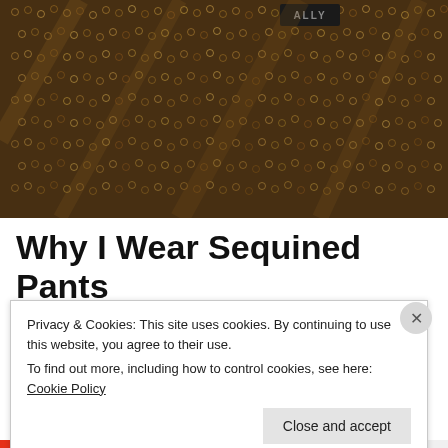[Figure (photo): Close-up photograph of gold/bronze sequined fabric with a dark label tag visible at the top]
Why I Wear Sequined Pants
Privacy & Cookies: This site uses cookies. By continuing to use this website, you agree to their use.
To find out more, including how to control cookies, see here: Cookie Policy